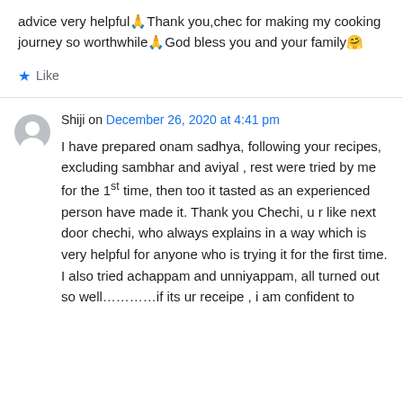advice very helpful🙏Thank you,chec for making my cooking journey so worthwhile🙏God bless you and your family🤗
★ Like
Shiji on December 26, 2020 at 4:41 pm
I have prepared onam sadhya, following your recipes, excluding sambhar and aviyal , rest were tried by me for the 1st time, then too it tasted as an experienced person have made it. Thank you Chechi, u r like next door chechi, who always explains in a way which is very helpful for anyone who is trying it for the first time. I also tried achappam and unniyappam, all turned out so well…………if its ur receipe , i am confident to